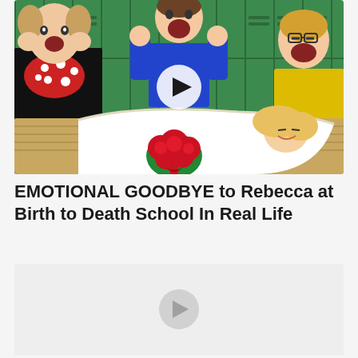[Figure (screenshot): Video thumbnail showing four people reacting dramatically around a woman in a white wedding dress lying on a school floor holding red roses. Green school lockers in background. A white play button overlay is centered on the image.]
EMOTIONAL GOODBYE to Rebecca at Birth to Death School In Real Life
[Figure (screenshot): Second video thumbnail card, mostly light gray/white with a faint play button circle in the center.]